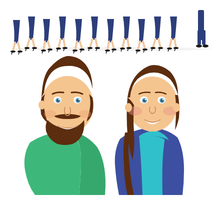[Figure (illustration): Top strip: row of cartoon business people (mostly women in navy skirts, heels, walking) and one man in navy suit on the right, viewed from the waist/knees down. Bottom main image: cartoon flat-style illustration of a smiling bearded man in a green sweater on the left and a smiling woman with long brown hair wearing a teal top and blue blazer on the right, shown from the shoulders up.]